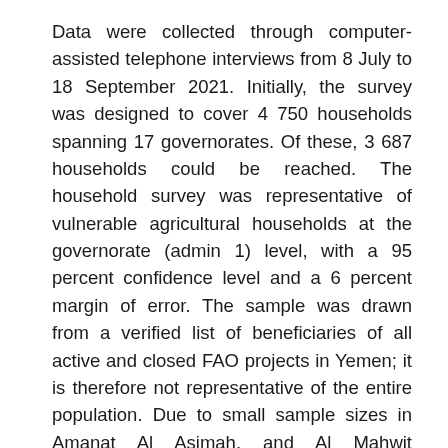Data were collected through computer-assisted telephone interviews from 8 July to 18 September 2021. Initially, the survey was designed to cover 4 750 households spanning 17 governorates. Of these, 3 687 households could be reached. The household survey was representative of vulnerable agricultural households at the governorate (admin 1) level, with a 95 percent confidence level and a 6 percent margin of error. The sample was drawn from a verified list of beneficiaries of all active and closed FAO projects in Yemen; it is therefore not representative of the entire population. Due to small sample sizes in Amanat Al Asimah, and Al Mahwit governorates, findings should be considered indicative.